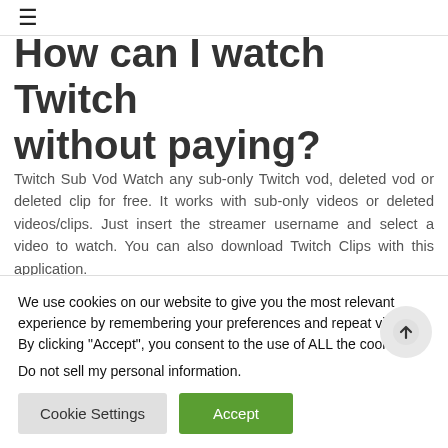≡
How can I watch Twitch without paying?
Twitch Sub Vod Watch any sub-only Twitch vod, deleted vod or deleted clip for free. It works with sub-only videos or deleted videos/clips. Just insert the streamer username and select a video to watch. You can also download Twitch Clips with this application.
[Figure (infographic): Social share buttons row: Facebook, Twitter, Reddit, LinkedIn, WhatsApp, Messenger, Telegram, Share]
We use cookies on our website to give you the most relevant experience by remembering your preferences and repeat visits. By clicking "Accept", you consent to the use of ALL the cookies.
Do not sell my personal information.
Cookie Settings
Accept